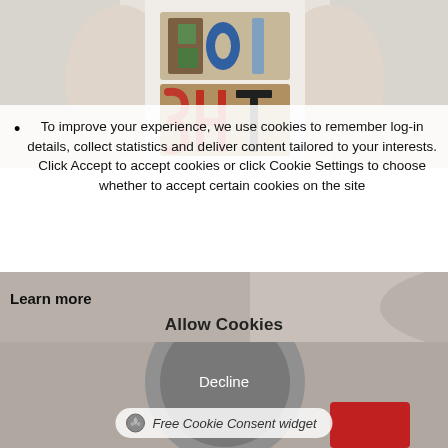[Figure (photo): Person wearing a white t-shirt with colorful graphic text reading BOI SHT, viewed from the torso down, against a white background.]
To improve your experience, we use cookies to remember log-in details, collect statistics and deliver content tailored to your interests. Click Accept to accept cookies or click Cookie Settings to choose whether to accept certain cookies on the site
Learn more
[Figure (photo): Partial background image of a person, blurred/faded, serving as background for cookie consent widget.]
Allow Cookies
[Figure (photo): Background image of a person with sports gear visible, partially obscured by cookie consent UI overlay.]
Decline
Free Cookie Consent widget